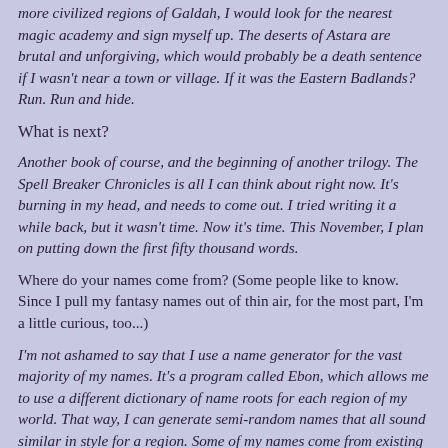more civilized regions of Galdah, I would look for the nearest magic academy and sign myself up. The deserts of Astara are brutal and unforgiving, which would probably be a death sentence if I wasn't near a town or village. If it was the Eastern Badlands? Run. Run and hide.
What is next?
Another book of course, and the beginning of another trilogy. The Spell Breaker Chronicles is all I can think about right now. It's burning in my head, and needs to come out. I tried writing it a while back, but it wasn't time. Now it's time. This November, I plan on putting down the first fifty thousand words.
Where do your names come from? (Some people like to know. Since I pull my fantasy names out of thin air, for the most part, I'm a little curious, too...)
I'm not ashamed to say that I use a name generator for the vast majority of my names. It's a program called Ebon, which allows me to use a different dictionary of name roots for each region of my world. That way, I can generate semi-random names that all sound similar in style for a region. Some of my names come from existing